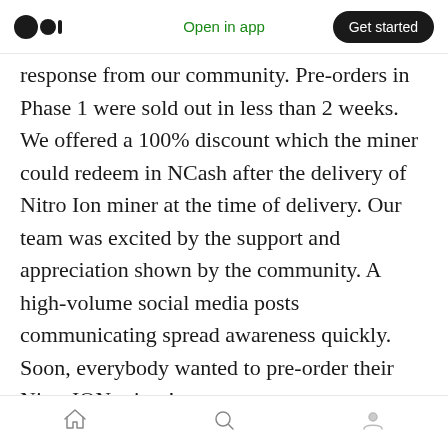Open in app | Get started
response from our community. Pre-orders in Phase 1 were sold out in less than 2 weeks. We offered a 100% discount which the miner could redeem in NCash after the delivery of Nitro Ion miner at the time of delivery. Our team was excited by the support and appreciation shown by the community. A high-volume social media posts communicating spread awareness quickly. Soon, everybody wanted to pre-order their Nitro ION miner!
We followed this up by offering an 80% discount which could be claimed in the form of NCash at
Home | Search | Profile